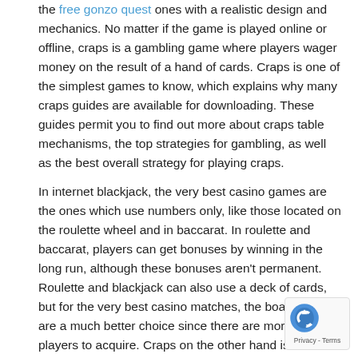the free gonzo quest ones with a realistic design and mechanics. No matter if the game is played online or offline, craps is a gambling game where players wager money on the result of a hand of cards. Craps is one of the simplest games to know, which explains why many craps guides are available for downloading. These guides permit you to find out more about craps table mechanisms, the top strategies for gambling, as well as the best overall strategy for playing craps.
In internet blackjack, the very best casino games are the ones which use numbers only, like those located on the roulette wheel and in baccarat. In roulette and baccarat, players can get bonuses by winning in the long run, although these bonuses aren't permanent. Roulette and blackjack can also use a deck of cards, but for the very best casino matches, the board games are a much better choice since there are more ways for players to acquire. Craps on the other hand is all about luck.
[Figure (other): reCAPTCHA badge with logo, showing Privacy and Terms links]